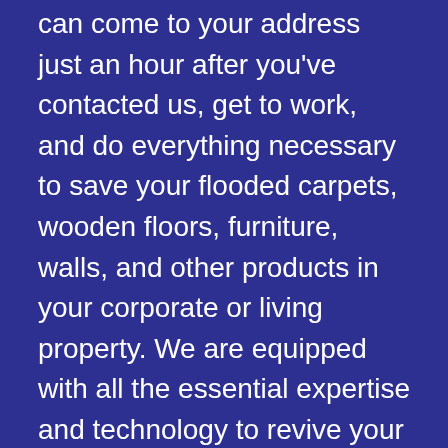can come to your address just an hour after you've contacted us, get to work, and do everything necessary to save your flooded carpets, wooden floors, furniture, walls, and other products in your corporate or living property. We are equipped with all the essential expertise and technology to revive your area to its initial state prior to the flooding.
If you are searching for reliable carpet flood damage restoration in Plympton Park, carpet mould extraction, drying solutions, water extraction, or additional flood repair services,